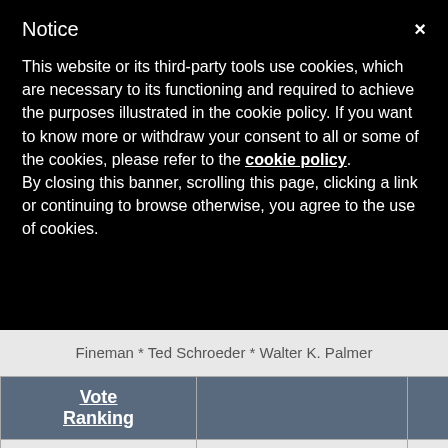Notice
This website or its third-party tools use cookies, which are necessary to its functioning and required to achieve the purposes illustrated in the cookie policy. If you want to know more or withdraw your consent to all or some of the cookies, please refer to the cookie policy.
By closing this banner, scrolling this page, clicking a link or continuing to browse otherwise, you agree to the use of cookies.
Fineman * Ted Schroeder * Walter K. Palmer
| Vote Ranking |  |  |
| --- | --- | --- |
| 1 | Corazon Aquino
World Leader
100% (1 of 1 votes) | [photo] |